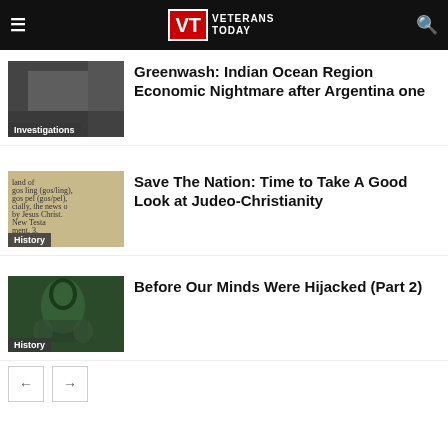Veterans Today
Greenwash: Indian Ocean Region Economic Nightmare after Argentina one
Investigations
Save The Nation: Time to Take A Good Look at Judeo-Christianity
History
Before Our Minds Were Hijacked (Part 2)
History